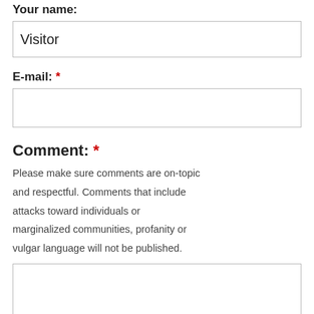Your name:
Visitor
E-mail: *
Comment: *
Please make sure comments are on-topic and respectful. Comments that include attacks toward individuals or marginalized communities, profanity or vulgar language will not be published.